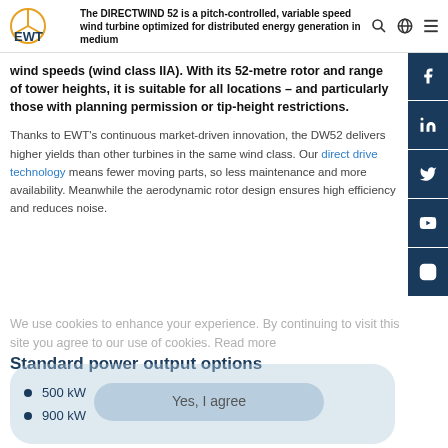The DIRECTWIND 52 is a pitch-controlled, variable speed wind turbine optimized for distributed energy generation in medium wind speeds (wind class IIA). With its 52-metre rotor and range of tower heights, it is suitable for all locations – and particularly those with planning permission or tip-height restrictions.
Thanks to EWT's continuous market-driven innovation, the DW52 delivers higher yields than other turbines in the same wind class. Our direct drive technology means fewer moving parts, so less maintenance and more availability. Meanwhile the aerodynamic rotor design ensures high efficiency and reduces noise.
Standard power output options
500 kW
900 kW